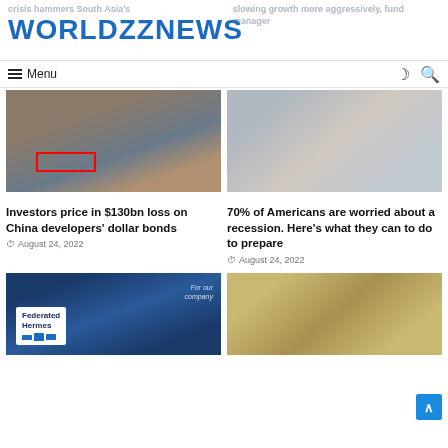WORLDZZNEWS
≡ Menu
[Figure (photo): Aerial view of a construction site with multi-story buildings under construction, with a red rectangle marking an area]
Investors price in $130bn loss on China developers' dollar bonds
August 24, 2022
[Figure (photo): A Black woman wearing glasses reading documents at a desk]
70% of Americans are worried about a recession. Here's what they can to do to prepare
August 24, 2022
[Figure (photo): A phone and laptop screen showing Federated Hermes website/logo]
[Figure (photo): A collection of Iranian newspapers spread out on a surface]